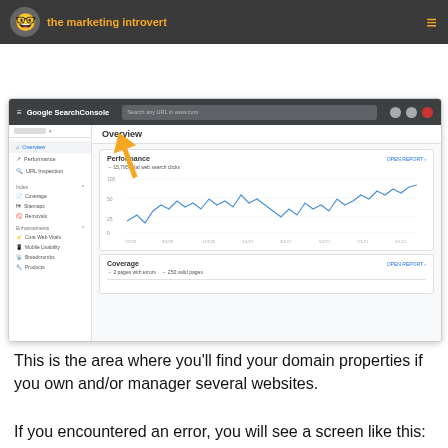the marketing introvert
because you just created an account. If it doesn't add to your domain property, you can click on the dropdown here and find your website.
[Figure (screenshot): Google Search Console screenshot showing the Overview panel with Performance line chart (15,795 total web search clicks) and Coverage section (2 pages with errors, 250 valid pages). An orange arrow points to the Overview label.]
This is the area where you'll find your domain properties if you own and/or manager several websites.
If you encountered an error, you will see a screen like this: